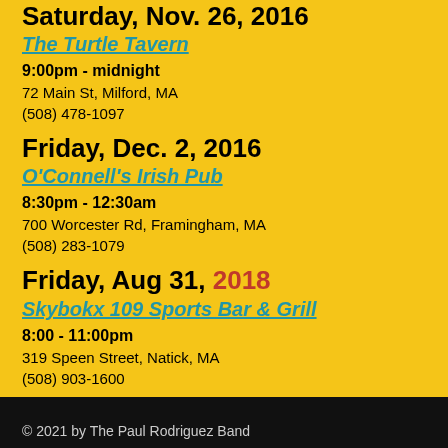Saturday, Nov. 26, 2016
The Turtle Tavern
9:00pm - midnight
72 Main St, Milford, MA
(508) 478-1097
Friday, Dec. 2, 2016
O'Connell's Irish Pub
8:30pm - 12:30am
700 Worcester Rd, Framingham, MA
(508) 283-1079
Friday, Aug 31, 2018
Skybokx 109 Sports Bar & Grill
8:00 - 11:00pm
319 Speen Street, Natick, MA
(508) 903-1600
© 2021 by The Paul Rodriguez Band